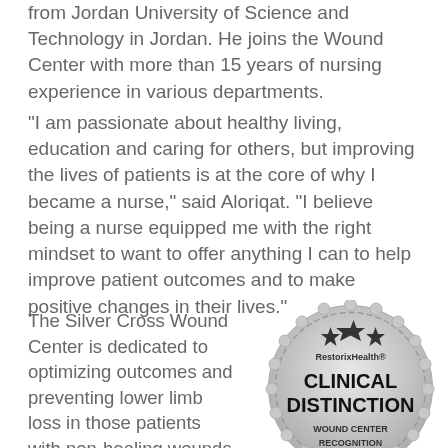from Jordan University of Science and Technology in Jordan. He joins the Wound Center with more than 15 years of nursing experience in various departments.
“I am passionate about healthy living, education and caring for others, but improving the lives of patients is at the core of why I became a nurse,” said Aloriqat. “I believe being a nurse equipped me with the right mindset to want to offer anything I can to help improve patient outcomes and to make positive changes in their lives.”
The Silver Cross Wound Center is dedicated to optimizing outcomes and preventing lower limb loss in those patients with non-healing wounds. The approach to wound care
[Figure (logo): RestorixHealth Clinical Distinction Wound Center Recognition badge - a circular silver/gray seal with scalloped edges, three stars at top, text RestorixHealth at top, CLINICAL DISTINCTION in large bold text, and WOUND CENTER RECOGNITION at bottom]